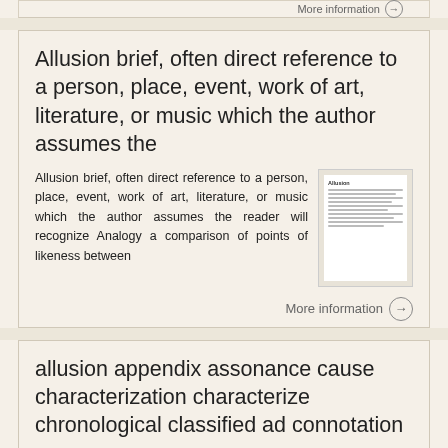More information →
Allusion brief, often direct reference to a person, place, event, work of art, literature, or music which the author assumes the
Allusion brief, often direct reference to a person, place, event, work of art, literature, or music which the author assumes the reader will recognize Analogy a comparison of points of likeness between
More information →
allusion appendix assonance cause characterization characterize chronological classified ad connotation consonance
allusion appendix assonance cause characterization characterize chronological classified ad connotation consonance a